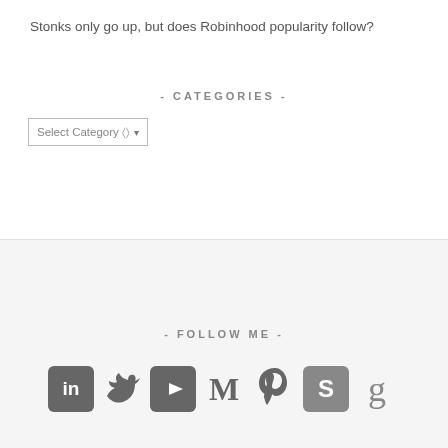Stonks only go up, but does Robinhood popularity follow?
- CATEGORIES -
[Figure (screenshot): Select Category dropdown UI element]
- FOLLOW ME -
[Figure (infographic): Social media follow icons: LinkedIn, Twitter, YouTube, Medium, Pinterest, Skype, Goodreads]